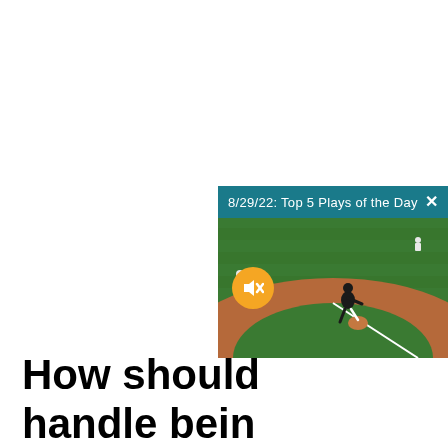[Figure (screenshot): A baseball video player widget showing a game scene with green outfield grass and brown infield dirt. A player is visible mid-motion on the field. The video header bar reads '8/29/22: Top 5 Plays of the Day' in white text on a teal/dark-cyan background with a white X close button. A gold muted speaker button overlay appears on the left side of the video.]
How should handle bein